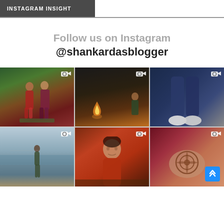INSTAGRAM INSIGHT
Follow us on Instagram
@shankardasblogger
[Figure (photo): Instagram photo grid showing 6 photos: a couple in formal/traditional attire, a religious puja scene, legs in jeans and sneakers, a woman standing on a beach, a man in orange shirt, and henna/mehndi art on a hand.]